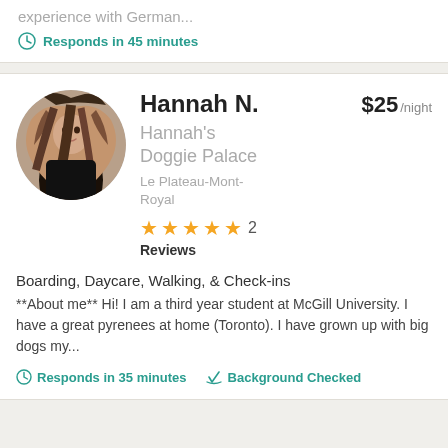experience with German...
Responds in 45 minutes
Hannah N.
$25 /night
Hannah's Doggie Palace
Le Plateau-Mont-Royal
★★★★★ 2 Reviews
Boarding, Daycare, Walking, & Check-ins
**About me** Hi! I am a third year student at McGill University. I have a great pyrenees at home (Toronto). I have grown up with big dogs my...
Responds in 35 minutes
Background Checked